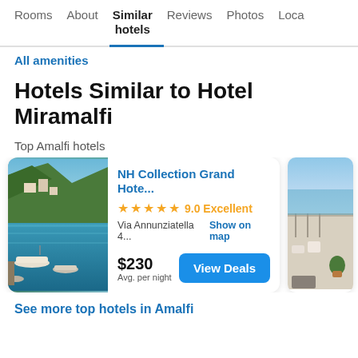Rooms  About  Similar hotels  Reviews  Photos  Loca...
All amenities
Hotels Similar to Hotel Miramalfi
Top Amalfi hotels
[Figure (screenshot): Hotel card for NH Collection Grand Hote... with harbor photo, 5 stars, 9.0 Excellent rating, Via Annunziatella 4..., Show on map, $230 Avg. per night, View Deals button. Partial second hotel card visible on right.]
See more top hotels in Amalfi